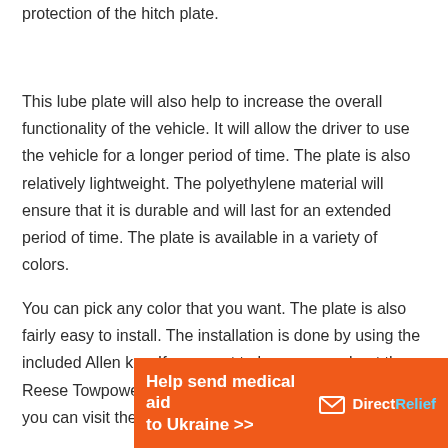protection of the hitch plate.
This lube plate will also help to increase the overall functionality of the vehicle. It will allow the driver to use the vehicle for a longer period of time. The plate is also relatively lightweight. The polyethylene material will ensure that it is durable and will last for an extended period of time. The plate is available in a variety of colors.
You can pick any color that you want. The plate is also fairly easy to install. The installation is done by using the included Allen key. If you want to know more about the Reese Towpower 83002 Fifth Wheel Lube Plate, then you can visit their website.
[Figure (infographic): Orange advertisement banner for Direct Relief: 'Help send medical aid to Ukraine >>' with Direct Relief logo]